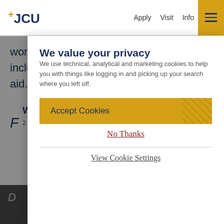+JCU  Apply  Visit  Info
work-study to Nanzan University. This includes scholarships, federal, and state aid.
We value your privacy
We use technical, analytical and marketing cookies to help you with things like logging in and picking up your search where you left off.
Accept Cookies
No Thanks
View Cookie Settings